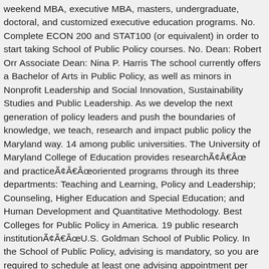weekend MBA, executive MBA, masters, undergraduate, doctoral, and customized executive education programs. No. Complete ECON 200 and STAT100 (or equivalent) in order to start taking School of Public Policy courses. No. Dean: Robert Orr Associate Dean: Nina P. Harris The school currently offers a Bachelor of Arts in Public Policy, as well as minors in Nonprofit Leadership and Social Innovation, Sustainability Studies and Public Leadership. As we develop the next generation of policy leaders and push the boundaries of knowledge, we teach, research and impact public policy the Maryland way. 14 among public universities. The University of Maryland College of Education provides research‑ and practice‑oriented programs through its three departments: Teaching and Learning, Policy and Leadership; Counseling, Higher Education and Special Education; and Human Development and Quantitative Methodology. Best Colleges for Public Policy in America. 19 public research institution‑U.S. Goldman School of Public Policy. In the School of Public Policy, advising is mandatory, so you are required to schedule at least one advising appointment per semester. 3101 Van